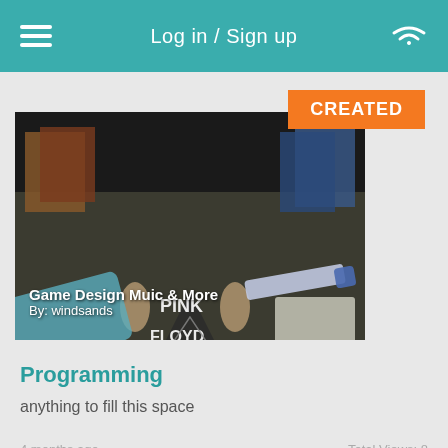Log in / Sign up
[Figure (screenshot): A dark photo showing a Pink Floyd Dark Side of the Moon shirt surrounded by various items including small figurines and game boxes. Text overlay reads 'Game Design Muic & More By: windsands'. An orange 'CREATED' badge is visible in the top right of the card.]
Programming
anything to fill this space
4 months ago    Total Views: 8